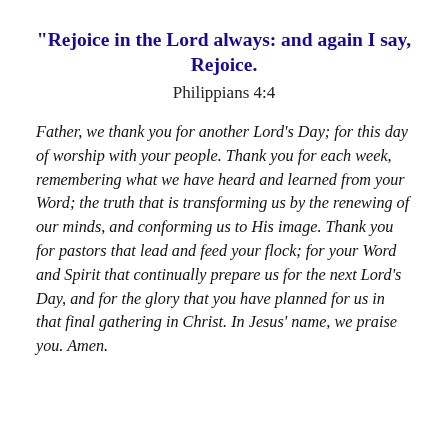“Rejoice in the Lord always: and again I say, Rejoice.
Philippians 4:4
Father, we thank you for another Lord’s Day; for this day of worship with your people. Thank you for each week, remembering what we have heard and learned from your Word; the truth that is transforming us by the renewing of our minds, and conforming us to His image. Thank you for pastors that lead and feed your flock; for your Word and Spirit that continually prepare us for the next Lord’s Day, and for the glory that you have planned for us in that final gathering in Christ. In Jesus’ name, we praise you. Amen.